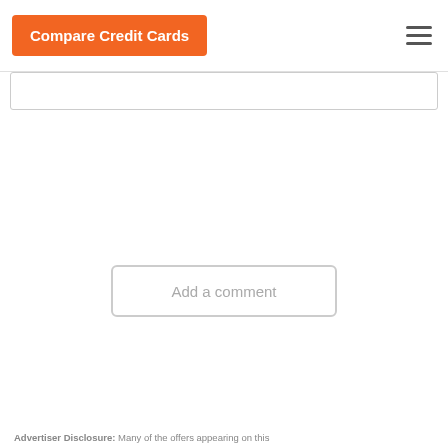Compare Credit Cards
[Figure (screenshot): Search input box, partially visible at top]
Add a comment
Advertiser Disclosure: Many of the offers appearing on this